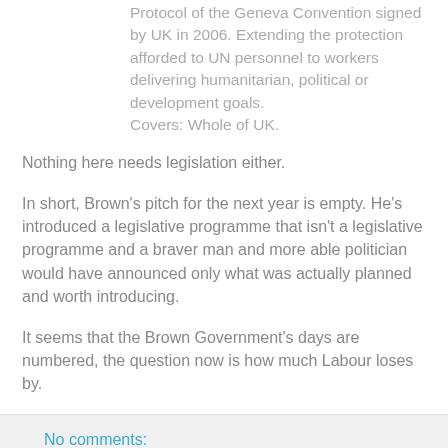Protocol of the Geneva Convention signed by UK in 2006. Extending the protection afforded to UN personnel to workers delivering humanitarian, political or development goals.
Covers: Whole of UK.
Nothing here needs legislation either.
In short, Brown's pitch for the next year is empty. He's introduced a legislative programme that isn't a legislative programme and a braver man and more able politician would have announced only what was actually planned and worth introducing.
It seems that the Brown Government's days are numbered, the question now is how much Labour loses by.
No comments:
Share